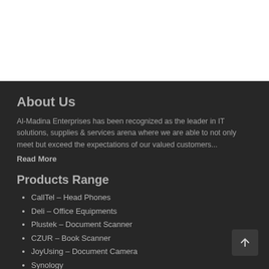About Us
Al-Madina Enterprises has been recognized as the leader in IT solutions, supplies & services arena where we are able to not only meet but exceed the expectations of our valued customers...
Read More
Products Range
CallTel – Head Phones
Deli – Office Equipments
Plustek – Document Scanner
CZUR – Book Scanner
JoyUsing – Document Camera
Synology